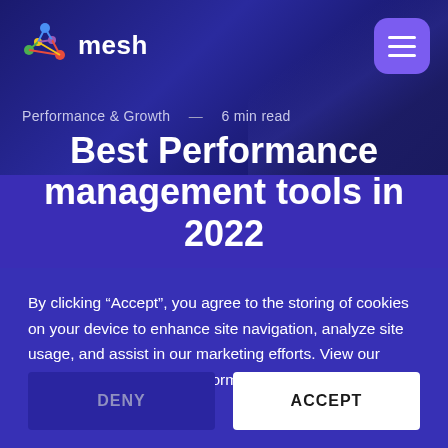mesh
Performance & Growth — 6 min read
Best Performance management tools in 2022
By clicking “Accept”, you agree to the storing of cookies on your device to enhance site navigation, analyze site usage, and assist in our marketing efforts. View our Privacy Policy for more information.
DENY
ACCEPT